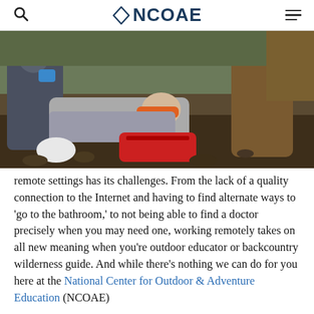NCOAE
[Figure (photo): Outdoor first aid scene: a person lying on the ground with a neck brace, attended by two people kneeling beside them, with a red medical bag nearby, on a forest floor covered with leaves.]
remote settings has its challenges. From the lack of a quality connection to the Internet and having to find alternate ways to 'go to the bathroom,' to not being able to find a doctor precisely when you may need one, working remotely takes on all new meaning when you're outdoor educator or backcountry wilderness guide. And while there's nothing we can do for you here at the National Center for Outdoor & Adventure Education (NCOAE)